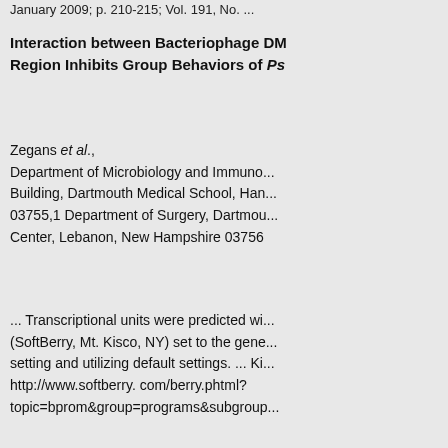January 2009; p. 210-215; Vol. 191, No. ...
Interaction between Bacteriophage DM... Region Inhibits Group Behaviors of Ps...
Zegans et al.,
Department of Microbiology and Immuno...
Building, Dartmouth Medical School, Han...
03755,1 Department of Surgery, Dartmou...
Center, Lebanon, New Hampshire 03756
... Transcriptional units were predicted wi...
(SoftBerry, Mt. Kisco, NY) set to the gene...
setting and utilizing default settings. ... Ki...
http://www.softberry. com/berry.phtml?
topic=bprom&group=programs&subgroup...
Microbiology
155 (2009), 95-105; DOI 10.1099/mic.0.0...
Involvement of the oscA gene in the su...
response and in Cr(VI) resistance in Ps...
28
Carlo Viti, Francesca Decorosi, Annalisa ...
Luciana Giovannetti
Dipartimento di Biotecnologie Agrarie, Se...
Universita` degli Studi di Firenze, Piazzal...
Firenze, Italy